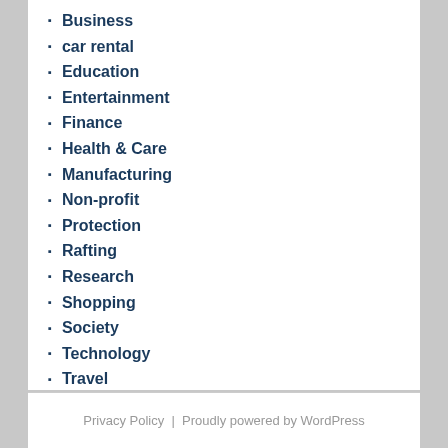Business
car rental
Education
Entertainment
Finance
Health & Care
Manufacturing
Non-profit
Protection
Rafting
Research
Shopping
Society
Technology
Travel
Privacy Policy  |  Proudly powered by WordPress